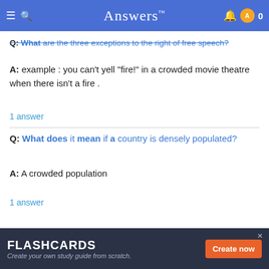Answers™  0
Q: What are the three exceptions to the right of free speech?
A: example : you can't yell "fire!" in a crowded movie theatre when there isn't a fire .
1 answer
Q: What does it mean if a country is densely populated?
A: A crowded population
1 answer
FLASHCARDS Create your own study guide from scratch. Create now